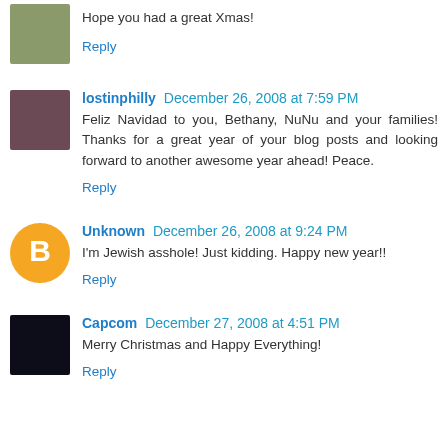Hope you had a great Xmas!
Reply
lostinphilly December 26, 2008 at 7:59 PM
Feliz Navidad to you, Bethany, NuNu and your families! Thanks for a great year of your blog posts and looking forward to another awesome year ahead! Peace.
Reply
Unknown December 26, 2008 at 9:24 PM
I'm Jewish asshole! Just kidding. Happy new year!!
Reply
Capcom December 27, 2008 at 4:51 PM
Merry Christmas and Happy Everything!
Reply